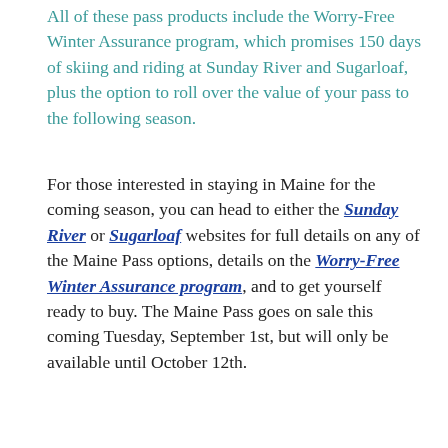All of these pass products include the Worry-Free Winter Assurance program, which promises 150 days of skiing and riding at Sunday River and Sugarloaf, plus the option to roll over the value of your pass to the following season.
For those interested in staying in Maine for the coming season, you can head to either the Sunday River or Sugarloaf websites for full details on any of the Maine Pass options, details on the Worry-Free Winter Assurance program, and to get yourself ready to buy. The Maine Pass goes on sale this coming Tuesday, September 1st, but will only be available until October 12th.